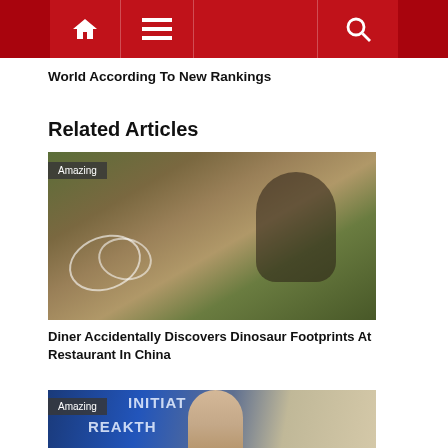Navigation bar with home, menu, and search icons
World According To New Rankings
Related Articles
[Figure (photo): Person examining dinosaur footprints outlined in chalk on rocky ground at an outdoor restaurant in China, with greenery in the background. Badge reads 'Amazing'.]
Diner Accidentally Discovers Dinosaur Footprints At Restaurant In China
[Figure (photo): Man with glasses in front of a blue banner with partial text reading 'INITIAT' and 'REAKTH'. Badge reads 'Amazing'.]